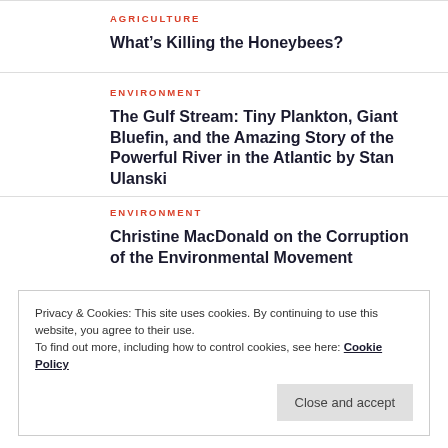AGRICULTURE
What’s Killing the Honeybees?
ENVIRONMENT
The Gulf Stream: Tiny Plankton, Giant Bluefin, and the Amazing Story of the Powerful River in the Atlantic by Stan Ulanski
ENVIRONMENT
Christine MacDonald on the Corruption of the Environmental Movement
Privacy & Cookies: This site uses cookies. By continuing to use this website, you agree to their use.
To find out more, including how to control cookies, see here: Cookie Policy
Close and accept